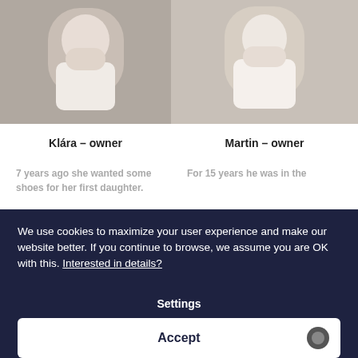[Figure (photo): Photo of Klára, a woman in white clothing holding something, arms crossed, against a concrete background]
[Figure (photo): Photo of Martin, a man in white shirt with hands clasped, against a light background]
Klára – owner
Martin – owner
7 years ago she wanted some shoes for her first daughter.
For 15 years he was in the
We use cookies to maximize your user experience and make our website better. If you continue to browse, we assume you are OK with this. Interested in details?
Settings
Accept